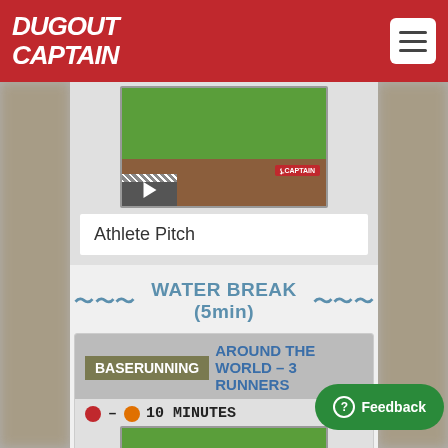DUGOUT CAPTAIN
[Figure (screenshot): Baseball game screenshot showing green field and brown dirt infield, with Dugout Captain badge and video play button]
Athlete Pitch
~~~ WATER BREAK (5min) ~~~
BASERUNNING AROUND THE WORLD – 3 RUNNERS
[Figure (screenshot): Baseball diamond diagram showing baserunning paths for Around the World drill, with DC watermark logo and play button. Timer shows 10 MINUTES]
Around the World is a baserunning...